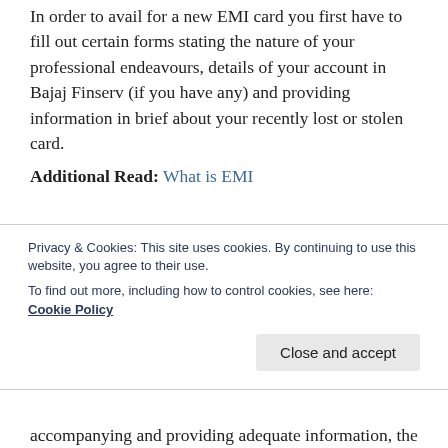In order to avail for a new EMI card you first have to fill out certain forms stating the nature of your professional endeavours, details of your account in Bajaj Finserv (if you have any) and providing information in brief about your recently lost or stolen card.
Additional Read: What is EMI
If you face any difficulty understanding the basic guidelines regarding requesting for a new EMI card it will be safe and useful to get in touch with the professionals at the institution by calling in their Bajaj Finserv customer care number. The company has been praised time and again for their impeccable customer
Privacy & Cookies: This site uses cookies. By continuing to use this website, you agree to their use.
To find out more, including how to control cookies, see here: Cookie Policy
accompanying and providing adequate information, the